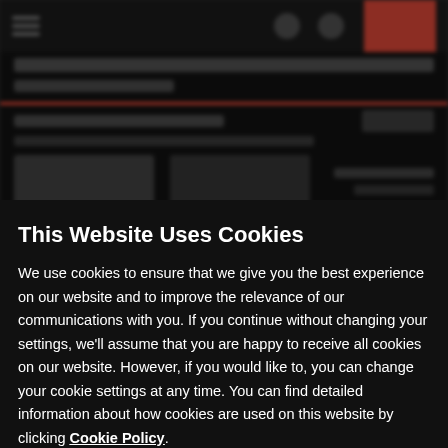[Figure (screenshot): Blurred dark background showing a partially visible website with a top navigation bar, red accent bar, thumbnail images, and text — all obscured by the cookie consent overlay.]
This Website Uses Cookies
We use cookies to ensure that we give you the best experience on our website and to improve the relevance of our communications with you. If you continue without changing your settings, we'll assume that you are happy to receive all cookies on our website. However, if you would like to, you can change your cookie settings at any time. You can find detailed information about how cookies are used on this website by clicking Cookie Policy.
Ok
Cookie Policy